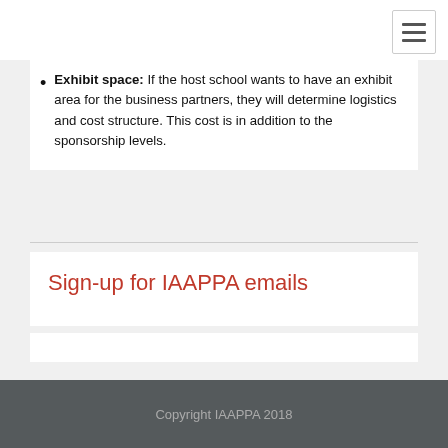Exhibit space: If the host school wants to have an exhibit area for the business partners, they will determine logistics and cost structure. This cost is in addition to the sponsorship levels.
Sign-up for IAAPPA emails
Copyright IAAPPA 2018